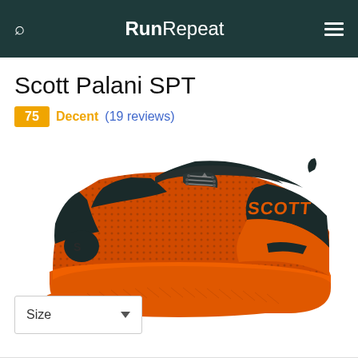RunRepeat
Scott Palani SPT
75 Decent (19 reviews)
[Figure (photo): Orange and dark grey/black Scott Palani SPT running shoe shown from the lateral side against a white background. The shoe features an orange mesh upper with dark overlay panels, orange sole, and 'SCOTT' branding on the heel.]
Size